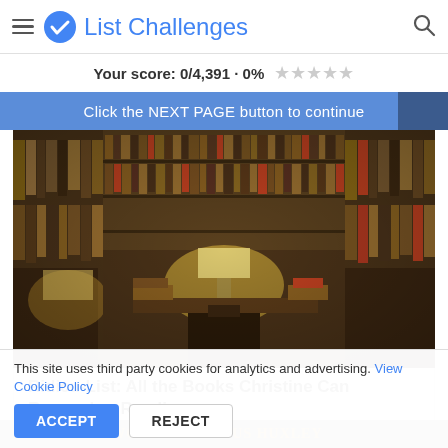List Challenges
Your score: 0/4,391 · 0% ★★★★★
Click the NEXT PAGE button to continue
[Figure (photo): Interior of a cluttered bookshop or library with floor-to-ceiling shelves packed with books, a lit lamp in the background, and a person seated at a desk.]
Ridicu-List: All the Books Christine Can Remember Reading
3,918   600
[Figure (photo): Partially visible book cover showing 'Brave New World' by Aldous Huxley]
This site uses third party cookies for analytics and advertising. View Cookie Policy
ACCEPT   REJECT